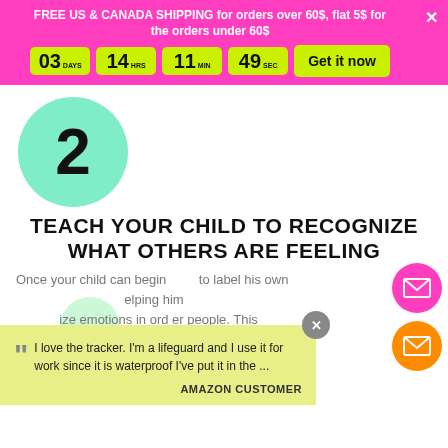FREE US & CANADA SHIPPING for orders over 60$, flat 5$ for the orders under 60$
03 DAYS  14 HRS  11 MIN  49 SEC  Get it now
[Figure (illustration): Large number 2 inside a mint green circle]
TEACH YOUR CHILD TO RECOGNIZE WHAT OTHERS ARE FEELING
Once your child can begin to label his own emotions, the next step is helping him recognize and empathize emotions in other people. This next step is teaching your child sympathy.
I love the tracker. I'm a lifeguard and I use it for work since it is waterproof I've put it in the ...
AMAZON CUSTOMER